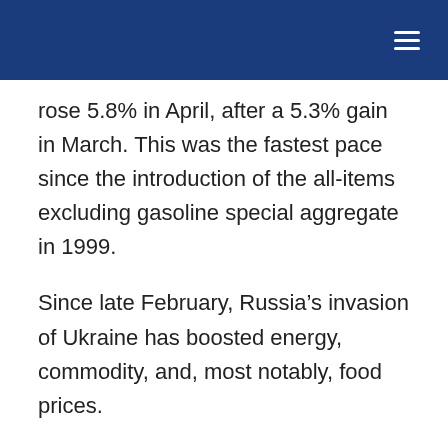rose 5.8% in April, after a 5.3% gain in March. This was the fastest pace since the introduction of the all-items excluding gasoline special aggregate in 1999.
Since late February, Russia’s invasion of Ukraine has boosted energy, commodity, and, most notably, food prices.
The Canadian economy’s strength